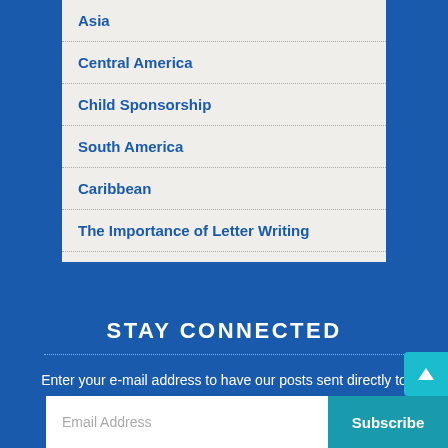Asia
Central America
Child Sponsorship
South America
Caribbean
The Importance of Letter Writing
STAY CONNECTED
Enter your e-mail address to have our posts sent directly to your inbox.
Email Address
Subscribe